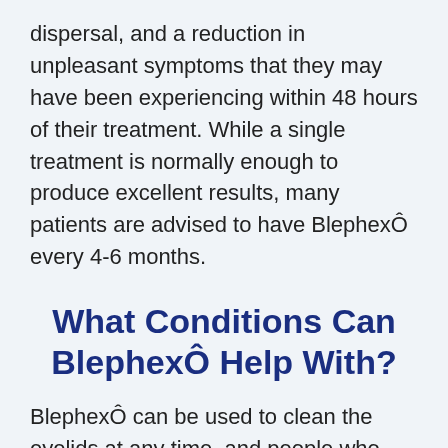dispersal, and a reduction in unpleasant symptoms that they may have been experiencing within 48 hours of their treatment. While a single treatment is normally enough to produce excellent results, many patients are advised to have BlephexÔ every 4-6 months.
What Conditions Can BlephexÔ Help With?
BlephexÔ can be used to clean the eyelids at any time, and people who suffer from dry eyes or eye allergies may find it is particularly beneficial for their eyes and health.